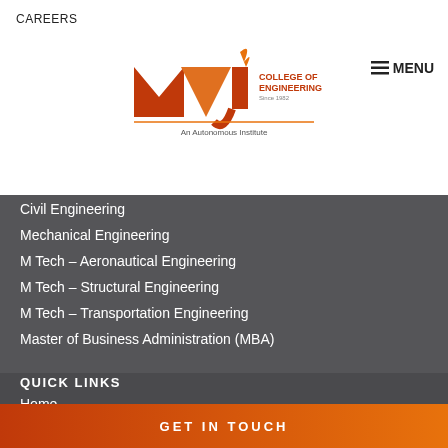CAREERS
[Figure (logo): MVJ College of Engineering logo with text 'An Autonomous Institute']
Civil Engineering
Mechanical Engineering
M Tech – Aeronautical Engineering
M Tech – Structural Engineering
M Tech – Transportation Engineering
Master of Business Administration (MBA)
QUICK LINKS
Home
Admissions
Courses
GET IN TOUCH